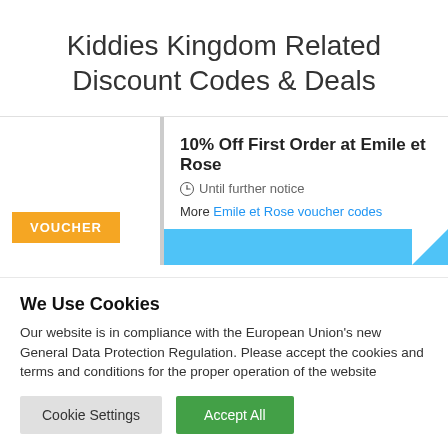Kiddies Kingdom Related Discount Codes & Deals
10% Off First Order at Emile et Rose
Until further notice
More Emile et Rose voucher codes
VOUCHER
We Use Cookies
Our website is in compliance with the European Union's new General Data Protection Regulation. Please accept the cookies and terms and conditions for the proper operation of the website
Cookie Settings
Accept All